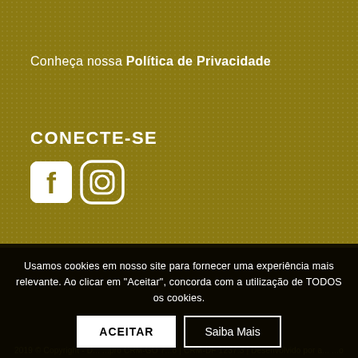Conheça nossa Política de Privacidade
CONECTE-SE
[Figure (illustration): Facebook and Instagram social media icons in white on golden background]
Usamos cookies em nosso site para fornecer uma experiência mais relevante. Ao clicar em "Aceitar", concorda com a utilização de TODOS os cookies.
ACEITAR
Saiba Mais
2019 © Copyright - D... ...pro CRM-GO 7...o | CRM-DF 1237.3 | Desenvolvido por a... ...o